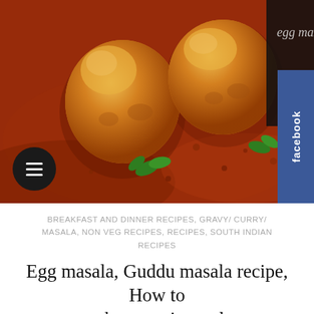[Figure (photo): Close-up photo of egg masala dish — two golden-brown fried eggs sitting in a rich, reddish-brown spiced curry/masala sauce garnished with fresh cilantro leaves. Text 'egg masala' visible in cursive at top right of image.]
BREAKFAST AND DINNER RECIPES, GRAVY/ CURRY/ MASALA, NON VEG RECIPES, RECIPES, SOUTH INDIAN RECIPES
Egg masala, Guddu masala recipe, How to make muttai masala
July 14, 2016 • by Sandhya Rivaz • 0 comments